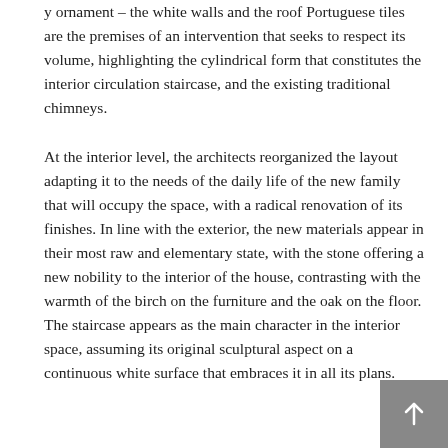y ornament – the white walls and the roof Portuguese tiles are the premises of an intervention that seeks to respect its volume, highlighting the cylindrical form that constitutes the interior circulation staircase, and the existing traditional chimneys.
At the interior level, the architects reorganized the layout adapting it to the needs of the daily life of the new family that will occupy the space, with a radical renovation of its finishes. In line with the exterior, the new materials appear in their most raw and elementary state, with the stone offering a new nobility to the interior of the house, contrasting with the warmth of the birch on the furniture and the oak on the floor. The staircase appears as the main character in the interior space, assuming its original sculptural aspect on a continuous white surface that embraces it in all its plans.